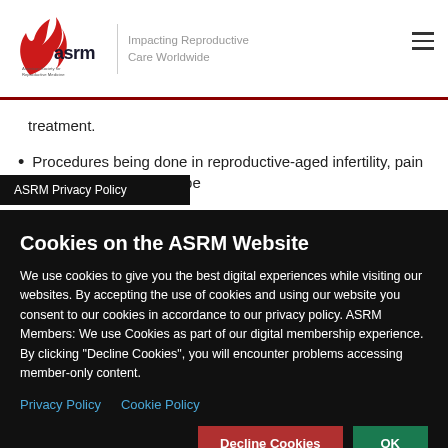[Figure (logo): ASRM logo with red flame/leaf icon and text 'asrm American Society for Reproductive Medicine' with tagline 'Impacting Reproductive Care Worldwide']
treatment.
Procedures being done in reproductive-aged infertility, pain or bleeding should not be
ASRM Privacy Policy
Cookies on the ASRM Website
We use cookies to give you the best digital experiences while visiting our websites. By accepting the use of cookies and using our website you consent to our cookies in accordance to our privacy policy. ASRM Members: We use Cookies as part of our digital membership experience. By clicking "Decline Cookies", you will encounter problems accessing member-only content.
Privacy Policy   Cookie Policy
Decline Cookies   OK